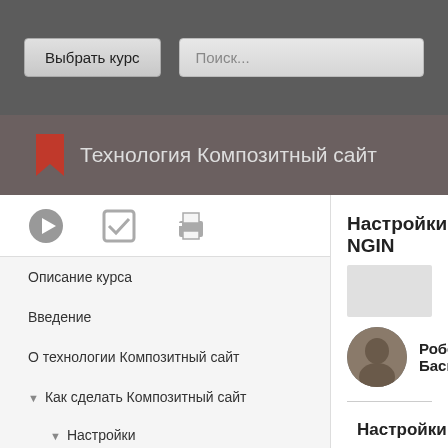Выбрать курс | Поиск...
Технология Композитный сайт
Описание курса
Введение
О технологии Композитный сайт
Как сделать Композитный сайт
Настройки
Настройки Bitrix Framework
Префикс файлов Cookies
9. Настройка nginx для работы
Настройки NGINX
Роберт Басыро
Настройки
Композитный кеш м